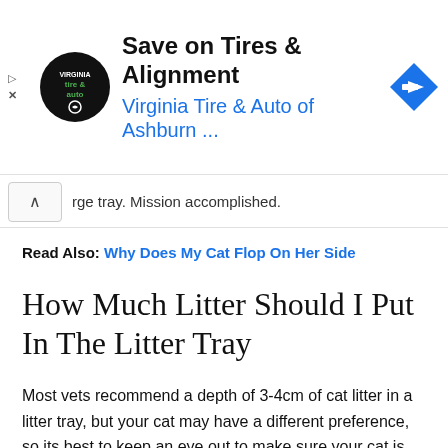[Figure (other): Advertisement banner for Virginia Tire & Auto of Ashburn with logo, headline 'Save on Tires & Alignment', subline 'Virginia Tire & Auto of Ashburn ...', and a blue direction arrow icon.]
rge tray. Mission accomplished.
Read Also: Why Does My Cat Flop On Her Side
How Much Litter Should I Put In The Litter Tray
Most vets recommend a depth of 3-4cm of cat litter in a litter tray, but your cat may have a different preference, so its best to keep an eye out to make sure your cat is happy. Some cats prefer the litter to be as deep as possible, although in an uncovered tray this can lead to lots of litter ending up outside the tray due to digging and burying. If you